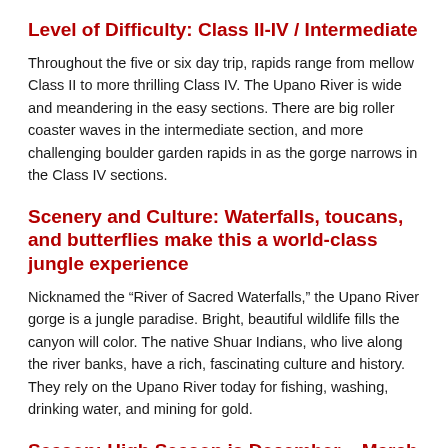Level of Difficulty: Class II-IV / Intermediate
Throughout the five or six day trip, rapids range from mellow Class II to more thrilling Class IV. The Upano River is wide and meandering in the easy sections. There are big roller coaster waves in the intermediate section, and more challenging boulder garden rapids in as the gorge narrows in the Class IV sections.
Scenery and Culture: Waterfalls, toucans, and butterflies make this a world-class jungle experience
Nicknamed the “River of Sacred Waterfalls,” the Upano River gorge is a jungle paradise. Bright, beautiful wildlife fills the canyon will color. The native Shuar Indians, who live along the river banks, have a rich, fascinating culture and history. They rely on the Upano River today for fishing, washing, drinking water, and mining for gold.
Season: High Season is December – March
The best time to raft on the Upano River is in the Southern hemisphere’s summer, a perfect break from the cold winter…